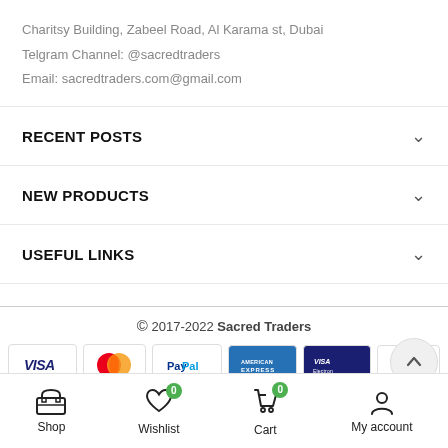Charitsy Building, Zabeel Road, Al Karama st, Dubai
Telgram Channel: @sacredtraders
Email: sacredtraders.com@gmail.com
RECENT POSTS
NEW PRODUCTS
USEFUL LINKS
© 2017-2022 Sacred Traders
Shop | Wishlist 0 | Cart 0 | My account